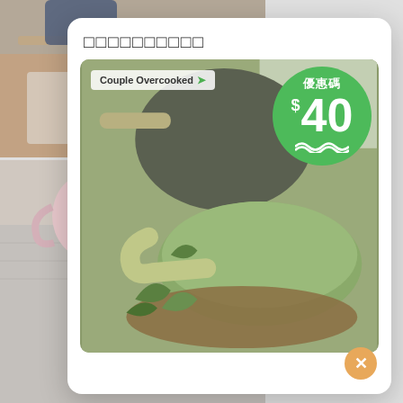[Figure (photo): Background photo collage: top photo shows dining table with wooden surface and teal chopsticks, bottom photo shows pink bowl with mushrooms and a pink mug on a gray woven placemat]
□□□□□□□□□□
[Figure (photo): Product photo inside modal card showing green ceramic cookware (wok/pan) on wooden board with herbs, overlaid with brand label 'Couple Overcooked' and a green circular discount badge showing '優惠碼 $40']